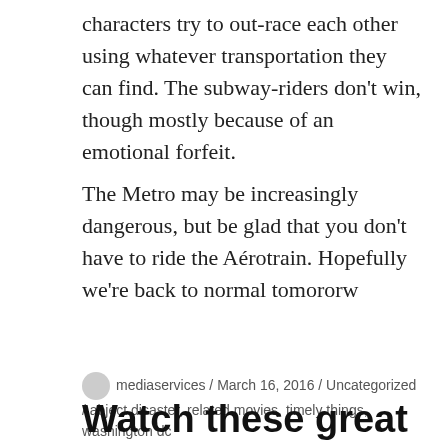characters try to out-race each other using whatever transportation they can find. The subway-riders don’t win, though mostly because of an emotional forfeit.
The Metro may be increasingly dangerous, but be glad that you don’t have to ride the Aérotrain. Hopefully we’re back to normal tomororw
mediaservices / March 16, 2016 / Uncategorized / abject disaster, related movies, timely things, washington dc
Watch these great new documentaries from